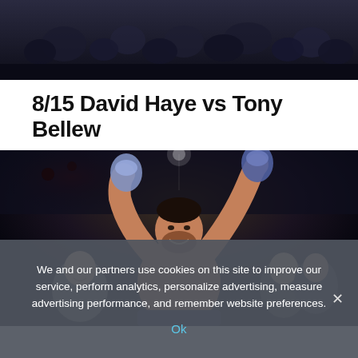[Figure (photo): Dark photo showing a crowd/audience in a dimly lit arena, top strip of the page]
8/15 David Haye vs Tony Bellew
[Figure (photo): Boxing match photo showing a boxer (Tony Bellew) with arms raised in victory wearing blue gloves, shirtless, with supporters visible behind him in a dark arena]
We and our partners use cookies on this site to improve our service, perform analytics, personalize advertising, measure advertising performance, and remember website preferences.